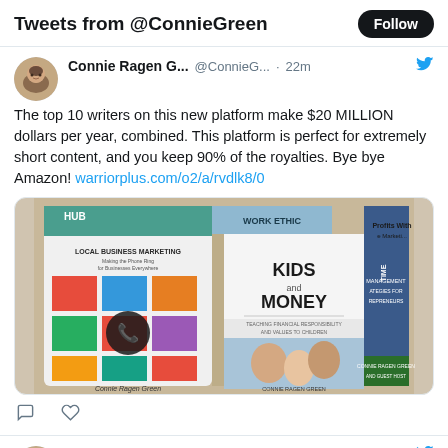Tweets from @ConnieGreen
The top 10 writers on this new platform make $20 MILLION dollars per year, combined. This platform is perfect for extremely short content, and you keep 90% of the royalties. Bye bye Amazon! warriorplus.com/o2/a/rvdlk8/0
[Figure (photo): Collage of book covers by Connie Ragen Green including 'Kids and Money', 'Local Business Marketing', 'Time Management Strategies for Entrepreneurs', and other book covers]
Connie Ragan Gr... @ConnieGr... · 6h